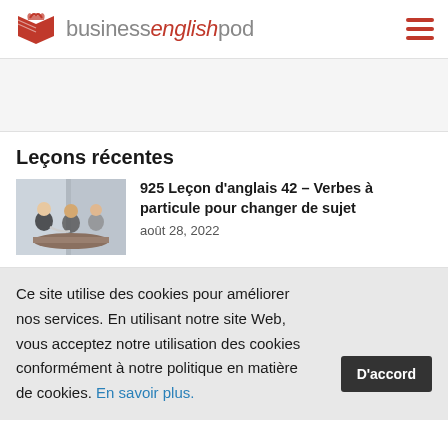businessenglishpod
[Figure (other): Advertisement banner area, light grey background]
Leçons récentes
[Figure (photo): Business people sitting at a table in a meeting]
925 Leçon d'anglais 42 – Verbes à particule pour changer de sujet
août 28, 2022
Ce site utilise des cookies pour améliorer nos services. En utilisant notre site Web, vous acceptez notre utilisation des cookies conformément à notre politique en matière de cookies. En savoir plus.